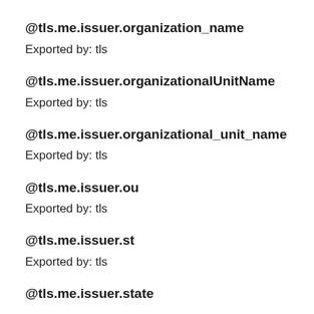@tls.me.issuer.organization_name
Exported by: tls
@tls.me.issuer.organizationalUnitName
Exported by: tls
@tls.me.issuer.organizational_unit_name
Exported by: tls
@tls.me.issuer.ou
Exported by: tls
@tls.me.issuer.st
Exported by: tls
@tls.me.issuer.state